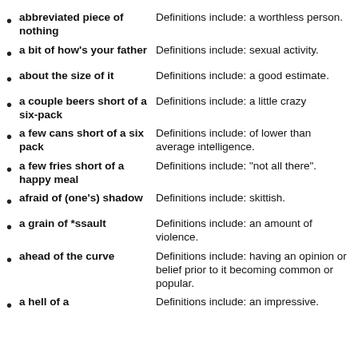abbreviated piece of nothing — Definitions include: a worthless person.
a bit of how's your father — Definitions include: sexual activity.
about the size of it — Definitions include: a good estimate.
a couple beers short of a six-pack — Definitions include: a little crazy
a few cans short of a six pack — Definitions include: of lower than average intelligence.
a few fries short of a happy meal — Definitions include: "not all there".
afraid of (one's) shadow — Definitions include: skittish.
a grain of *ssault — Definitions include: an amount of violence.
ahead of the curve — Definitions include: having an opinion or belief prior to it becoming common or popular.
a hell of a — Definitions include: an impressive.